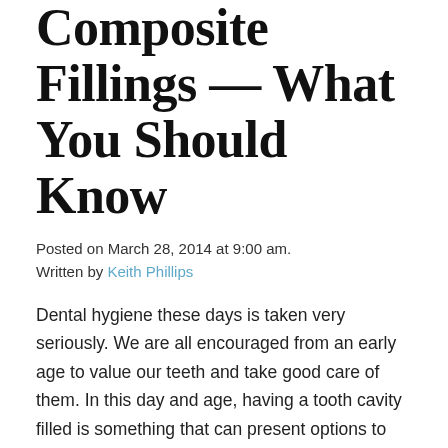Composite Fillings — What You Should Know
Posted on March 28, 2014 at 9:00 am.
Written by Keith Phillips
Dental hygiene these days is taken very seriously. We are all encouraged from an early age to value our teeth and take good care of them. In this day and age, having a tooth cavity filled is something that can present options to both the dentist and patient. Of course the final decision comes down to budget constraints and cosmetic desires.
The most prominent being offered to patient b...